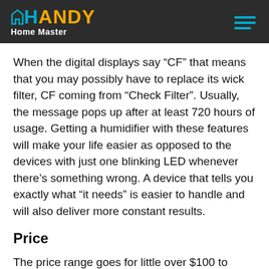HANDY Home Master
When the digital displays say “CF” that means that you may possibly have to replace its wick filter, CF coming from “Check Filter”. Usually, the message pops up after at least 720 hours of usage. Getting a humidifier with these features will make your life easier as opposed to the devices with just one blinking LED whenever there’s something wrong. A device that tells you exactly what “it needs” is easier to handle and will also deliver more constant results.
Price
The price range goes for little over $100 to models